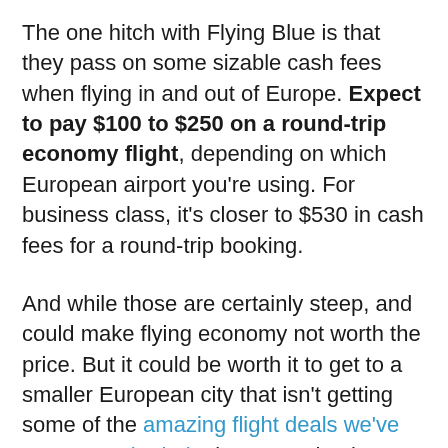The one hitch with Flying Blue is that they pass on some sizable cash fees when flying in and out of Europe. Expect to pay $100 to $250 on a round-trip economy flight, depending on which European airport you're using. For business class, it's closer to $530 in cash fees for a round-trip booking.
And while those are certainly steep, and could make flying economy not worth the price. But it could be worth it to get to a smaller European city that isn't getting some of the amazing flight deals we've seen to major hubs in Europe lately. That's especially true for business class fares, which would typically cost $5,000 or more.